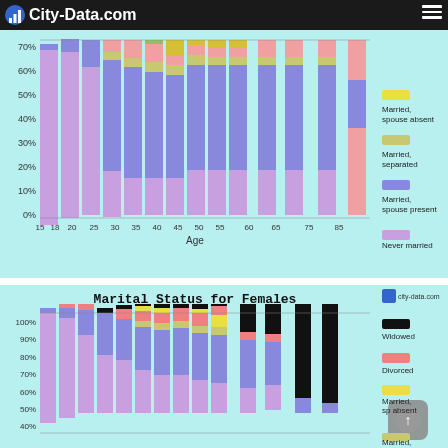[Figure (screenshot): City-Data.com logo header bar with hamburger menu]
[Figure (stacked-bar-chart): Marital Status by Age (Males, implied)]
[Figure (stacked-bar-chart): Marital Status for Females]